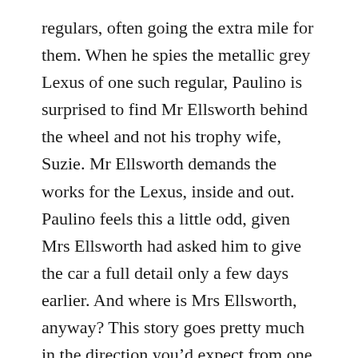regulars, often going the extra mile for them. When he spies the metallic grey Lexus of one such regular, Paulino is surprised to find Mr Ellsworth behind the wheel and not his trophy wife, Suzie. Mr Ellsworth demands the works for the Lexus, inside and out. Paulino feels this a little odd, given Mrs Ellsworth had asked him to give the car a full detail only a few days earlier. And where is Mrs Ellsworth, anyway? This story goes pretty much in the direction you'd expect from one paragraph to the next, but its success lies in the brilliantly readable character Etchison creates in Paulino.)
Coming Home – Mark Morris (3/5 – It's beginning to look a lot like Christmas and the Graingers are gearing